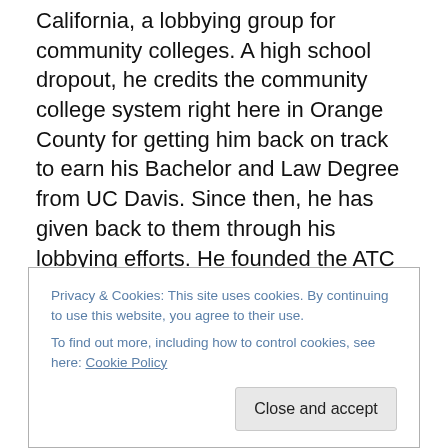California, a lobbying group for community colleges. A high school dropout, he credits the community college system right here in Orange County for getting him back on track to earn his Bachelor and Law Degree from UC Davis. Since then, he has given back to them through his lobbying efforts. He founded the ATC website more or less as a lark and it sparked into a full service site with more than 4,000 subscribers and a few thousand more non-subscribers who faithfully follow Scott's witty wisdom as they utilize the site to track legislative bills and the legislature themselves in a way that we can all
Privacy & Cookies: This site uses cookies. By continuing to use this website, you agree to their use. To find out more, including how to control cookies, see here: Cookie Policy
Close and accept